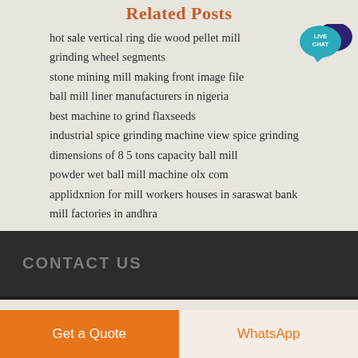Related Posts
hot sale vertical ring die wood pellet mill
grinding wheel segments
stone mining mill making front image file
ball mill liner manufacturers in nigeria
best machine to grind flaxseeds
industrial spice grinding machine view spice grinding
dimensions of 8 5 tons capacity ball mill
powder wet ball mill machine olx com
applidxnion for mill workers houses in saraswat bank
mill factories in andhra
[Figure (illustration): Live Chat button badge — teal speech bubble with 'LIVE CHAT' text in white, with a dark navy overlapping bubble]
CONTACT US
Get a Quote
WhatsApp